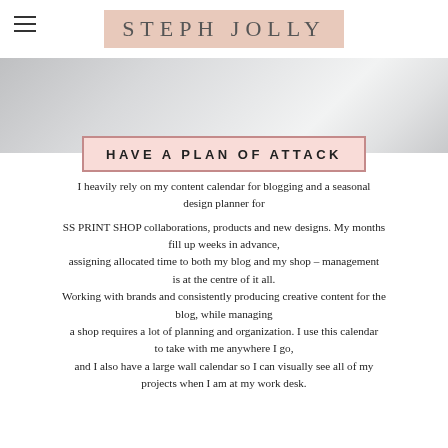STEPH JOLLY
[Figure (photo): Close-up photo of a light grey/silver surface, likely a notebook or desk surface, with soft diagonal lighting creating a gradient effect.]
HAVE A PLAN OF ATTACK
I heavily rely on my content calendar for blogging and a seasonal design planner for

SS PRINT SHOP collaborations, products and new designs. My months fill up weeks in advance,
assigning allocated time to both my blog and my shop – management is at the centre of it all.
Working with brands and consistently producing creative content for the blog, while managing
a shop requires a lot of planning and organization. I use this calendar to take with me anywhere I go,
and I also have a large wall calendar so I can visually see all of my projects when I am at my work desk.